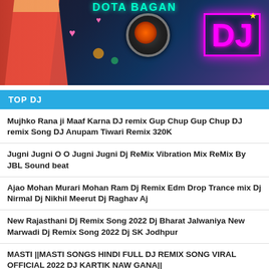[Figure (photo): DJ music website banner showing a woman in red outfit on the left, a speaker in the center, colorful hearts and lights, and a pink neon DJ logo on the right against a dark background]
TOP DJ
Mujhko Rana ji Maaf Karna DJ remix Gup Chup Gup Chup DJ remix Song DJ Anupam Tiwari Remix 320K
Jugni Jugni O O Jugni Jugni Dj ReMix Vibration Mix ReMix By JBL Sound beat
Ajao Mohan Murari Mohan Ram Dj Remix Edm Drop Trance mix Dj Nirmal Dj Nikhil Meerut Dj Raghav Aj
New Rajasthani Dj Remix Song 2022 Dj Bharat Jalwaniya New Marwadi Dj Remix Song 2022 Dj SK Jodhpur
MASTI ||MASTI SONGS HINDI FULL DJ REMIX SONG VIRAL OFFICIAL 2022 DJ KARTIK NAW GANA||
LABEL
DJ AISYAH  DJ MALAYSIA  DJ INDIA  DJ TIK TOK  DJ BREAKBEAT  DJ AKIMILAKU  DJ VIRAL  DJ REMIX  DJ KOPLO  DJ DANGDUT